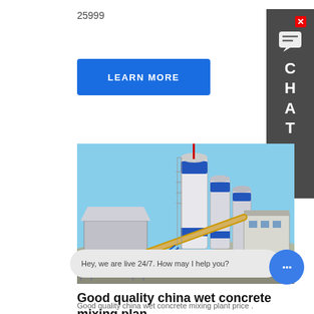25999
LEARN MORE
[Figure (photo): Concrete mixing plant / batching plant with tall white and blue cylindrical silos, a conveyor belt, and industrial buildings under a blue sky.]
Good quality china wet concrete mixing plan
Good quality china wet concrete mixing plant price .
Hey, we are live 24/7. How may I help you?
CHAT